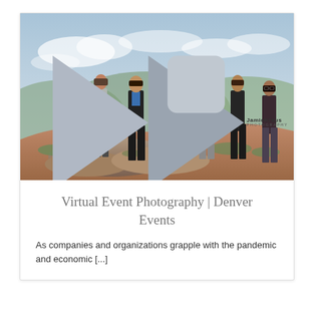[Figure (photo): Group photo of seven professionals standing on a rocky hillside with mountains and cloudy sky in the background. A woman in a pink/magenta dress stands in the center, surrounded by men in business casual attire. A 'Jamie Kraus Photography' logo is in the upper right corner of the image.]
Virtual Event Photography | Denver Events
As companies and organizations grapple with the pandemic and economic [...]